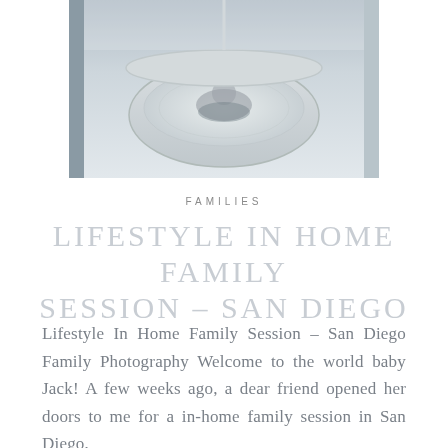[Figure (photo): A newborn baby lying in a white wicker hanging basket/cradle, photographed from above in a soft, light-colored nursery setting]
FAMILIES
LIFESTYLE IN HOME FAMILY SESSION – SAN DIEGO
Lifestyle In Home Family Session – San Diego Family Photography Welcome to the world baby Jack! A few weeks ago, a dear friend opened her doors to me for a in-home family session in San Diego,